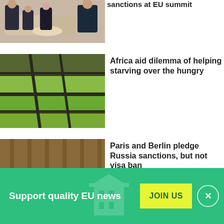sanctions at EU summit
[Figure (photo): Four world leaders in suits sitting around a small round table in a formal room, appearing to be in diplomatic discussion.]
[Figure (photo): Aerial view of farmland with green and brown fields separated by dark paths or windbreaks.]
Africa aid dilemma of helping starving over the hungry
[Figure (photo): Interior of a large conference hall with rows of tables and chairs arranged in a U-shape or rows, viewed from above.]
Paris and Berlin pledge Russia sanctions, but not visa ban
Support quality EU news
JOIN US